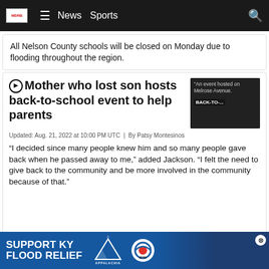WDRB News | News Sports
All Nelson County schools will be closed on Monday due to flooding throughout the region.
Mother who lost son hosts back-to-school event to help parents
[Figure (photo): Thumbnail overlay with text: An event hosted on Melrose Avenue. BACK-TO-...]
Updated: Aug. 21, 2022 at 10:00 PM UTC  |  By Patsy Montesinos
“I decided since many people knew him and so many people gave back when he passed away to me,” added Jackson. “I felt the need to give back to the community and be more involved in the community because of that.”
Sus... County Can... e
[Figure (infographic): SUPPORT KY FLOOD RELIEF | Appalachia Rises | gray logo advertisement banner]